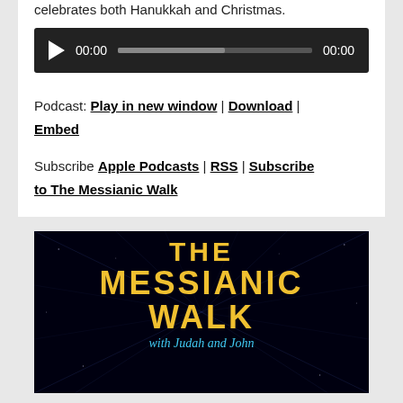celebrates both Hanukkah and Christmas.
[Figure (other): Audio player with dark background showing play button, 00:00 timestamp, progress bar, and 00:00 end time]
Podcast: Play in new window | Download | Embed
Subscribe Apple Podcasts | RSS | Subscribe to The Messianic Walk
[Figure (photo): The Messianic Walk podcast logo on black starfield background with yellow bold text reading THE MESSIANIC WALK and blue italic text reading with Judah and John]